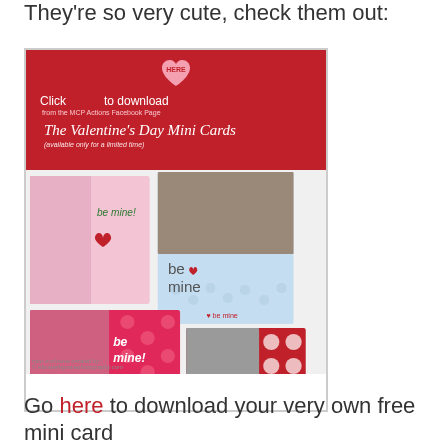They're so very cute, check them out:
[Figure (illustration): Valentine's Day Mini Cards promotional image with red header reading 'Click HERE to download from the MCP Actions Facebook Page - The Valentine's Day Mini Cards (available only for a limited time)' and a collage of four photo cards featuring children with 'be mine!' text and heart decorations in pink, blue, and red polka dot styles. Bottom credit reads 'mcp exclusive created by: © elizabethgracephotography.com']
Go here to download your very own free mini card